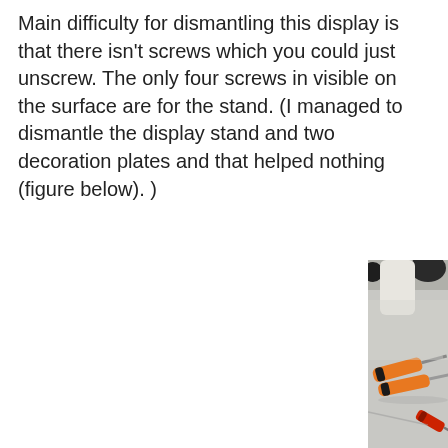Main difficulty for dismantling this display is that there isn't screws which you could just unscrew. The only four screws in visible on the surface are for the stand. (I managed to dismantle the display stand and two decoration plates and that helped nothing (figure below).)
[Figure (photo): Photo showing screwdrivers with orange handles on a light grey surface, partially cropped, with a dark cable or component visible at the top and a red tool or component at the bottom right.]